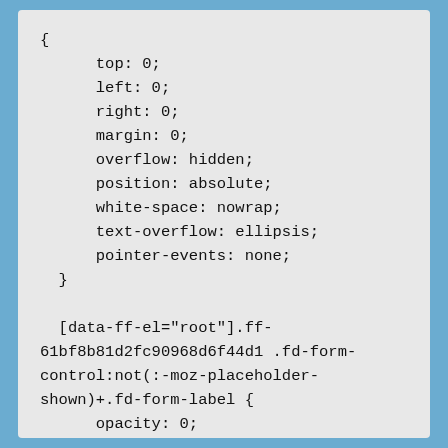{
    top: 0;
    left: 0;
    right: 0;
    margin: 0;
    overflow: hidden;
    position: absolute;
    white-space: nowrap;
    text-overflow: ellipsis;
    pointer-events: none;
  }

  [data-ff-el="root"].ff-61bf8b81d2fc90968d6f44d1 .fd-form-control:not(:-moz-placeholder-shown)+.fd-form-label {
    opacity: 0;